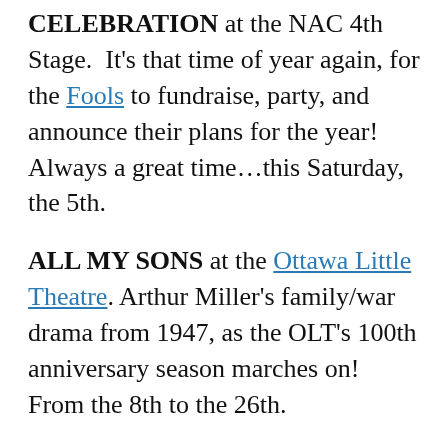CELEBRATION at the NAC 4th Stage. It's that time of year again, for the Fools to fundraise, party, and announce their plans for the year! Always a great time...this Saturday, the 5th.
ALL MY SONS at the Ottawa Little Theatre. Arthur Miller's family/war drama from 1947, as the OLT's 100th anniversary season marches on! From the 8th to the 26th.
BLUE BOX at the Great Canadian Theatre Company, from Nightswimming Theatre. Carmen Aguirre's runaway UNDERCURRENTS hit is back on the big stage, and we can see that...